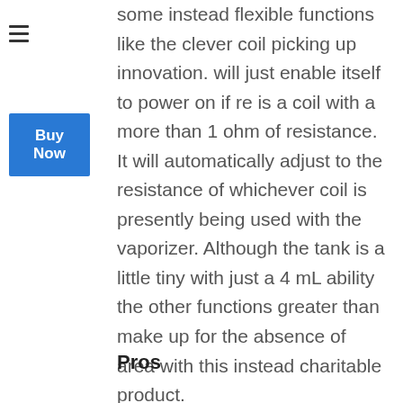some instead flexible functions like the clever coil picking up innovation. will just enable itself to power on if re is a coil with a more than 1 ohm of resistance. It will automatically adjust to the resistance of whichever coil is presently being used with the vaporizer. Although the tank is a little tiny with just a 4 mL ability the other functions greater than make up for the absence of area with this instead charitable product.
Pros